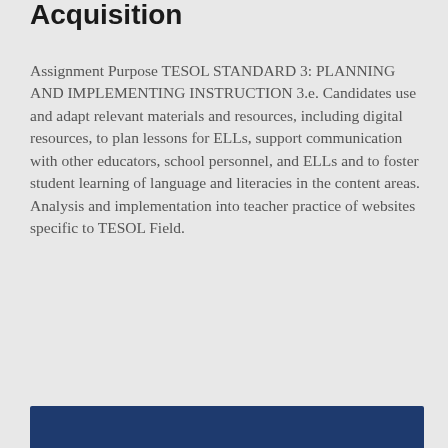Acquisition
Assignment Purpose TESOL STANDARD 3: PLANNING AND IMPLEMENTING INSTRUCTION 3.e. Candidates use and adapt relevant materials and resources, including digital resources, to plan lessons for ELLs, support communication with other educators, school personnel, and ELLs and to foster student learning of language and literacies in the content areas. Analysis and implementation into teacher practice of websites specific to TESOL Field.
[Figure (other): Blue rectangular bar at the bottom of the page]